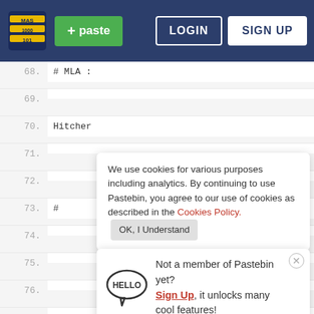Pastebin navigation: + paste, LOGIN, SIGN UP
68.  # MLA :
69.
70.  Hitcher
71.
72.
73.  #
We use cookies for various purposes including analytics. By continuing to use Pastebin, you agree to our use of cookies as described in the Cookies Policy. OK, I Understand
74.
75.
76.
77.
78.  #  Not a member of Pastebin yet? Sign Up, it unlocks many cool features!
79.
80.
81.
82.  # The Izz ad-Din al-Qassam cyber fighters Team.